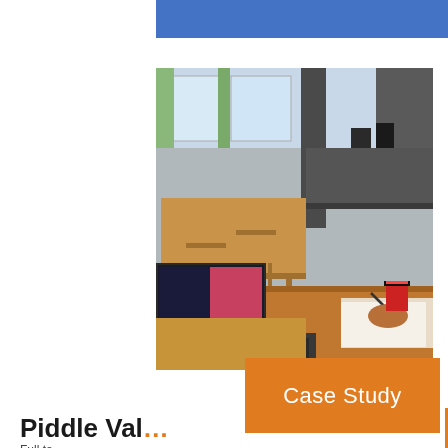[Figure (photo): A classroom scene with wooden desks and chairs, a laptop computer in the foreground, a person's hands writing on paper and using a laptop, a red coffee cup, and a chalkboard and windows in the background.]
Case Study
Piddle Val…
Full text cut off at bottom of page.